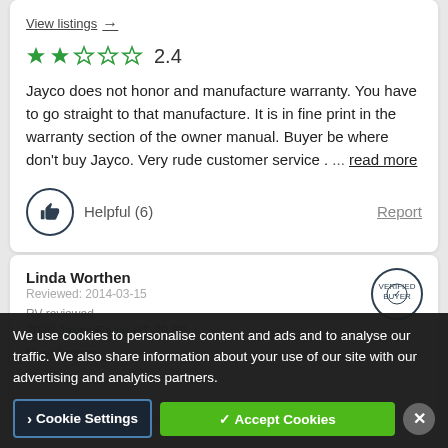View listings →
[Figure (infographic): Star rating: 2 filled stars, 3 empty stars, rating 2.4]
Jayco does not honor and manufacture warranty. You have to go straight to that manufacture. It is in fine print in the warranty section of the owner manual. Buyer be where don't buy Jayco. Very rude customer service . ... read more
Helpful (6)
Report
Linda Worthen
RV reviewed
2020 Jayco Eagle HT 29.5B
View listings →
We use cookies to personalise content and ads and to analyse our traffic. We also share information about your use of our site with our advertising and analytics partners.
Cookie Settings
✓ Accept Cookies